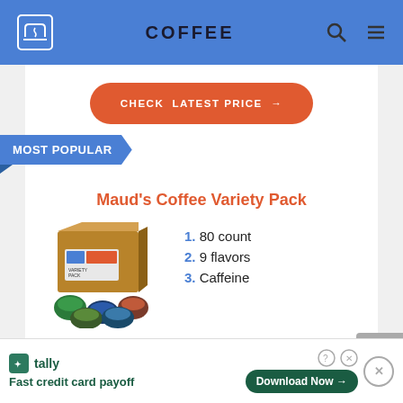COFFEE
CHECK LATEST PRICE →
MOST POPULAR
Maud's Coffee Variety Pack
[Figure (photo): Box of Maud's Coffee Variety Pack with K-cup pods scattered in front]
1. 80 count
2. 9 flavors
3. Caffeine
tally — Fast credit card payoff — Download Now →